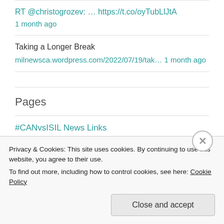RT @christogrozev: … https://t.co/oyTubLlJtA
1 month ago
Taking a Longer Break
milnewsca.wordpress.com/2022/07/19/tak… 1 month ago
Pages
#CANvsISIL News Links
Privacy & Cookies: This site uses cookies. By continuing to use this website, you agree to their use.
To find out more, including how to control cookies, see here: Cookie Policy
Close and accept